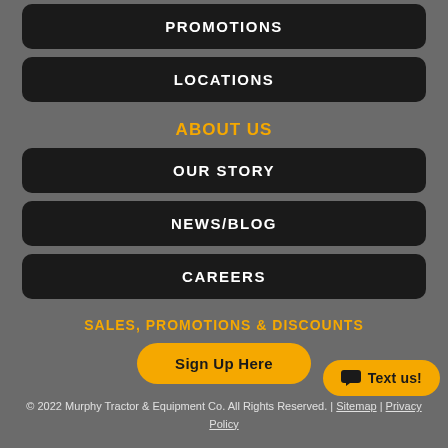PROMOTIONS
LOCATIONS
ABOUT US
OUR STORY
NEWS/BLOG
CAREERS
SALES, PROMOTIONS & DISCOUNTS
Sign Up Here
Text us!
© 2022 Murphy Tractor & Equipment Co. All Rights Reserved. | Sitemap | Privacy Policy